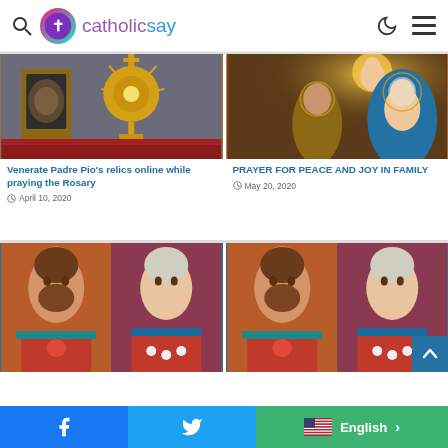catholicsay - search, logo, dark mode, menu
[Figure (photo): Padre Pio relic with monstrance on red cloth]
Venerate Padre Pio's relics online while praying the Rosary
April 10, 2020
[Figure (photo): Religious painting of Holy Family - Mary, Joseph, baby Jesus with halo]
PRAYER FOR PEACE AND JOY IN FAMILY
May 20, 2020
[Figure (photo): Side-by-side portraits of Jesus and Mary]
[Figure (photo): Side-by-side portraits of Jesus and Mary (duplicate)]
Facebook | Twitter | English language selector